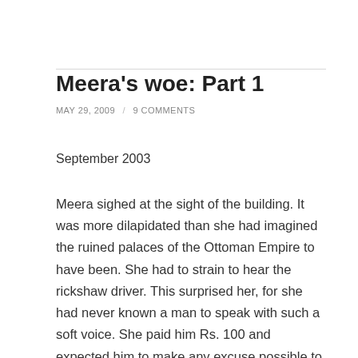Meera's woe: Part 1
MAY 29, 2009  /  9 COMMENTS
September 2003
Meera sighed at the sight of the building. It was more dilapidated than she had imagined the ruined palaces of the Ottoman Empire to have been. She had to strain to hear the rickshaw driver. This surprised her, for she had never known a man to speak with such a soft voice. She paid him Rs. 100 and expected him to make any excuse possible to avoid giving her the change of Rs. 7.50, but